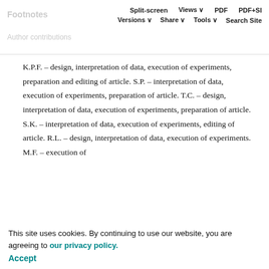Footnotes  Split-screen  Views  PDF  PDF+SI  Author contributions  Versions  Share  Tools  Search Site
K.P.F. – design, interpretation of data, execution of experiments, preparation and editing of article. S.P. – interpretation of data, execution of experiments, preparation of article. T.C. – design, interpretation of data, execution of experiments, preparation of article. S.K. – interpretation of data, execution of experiments, editing of article. R.L. – design, interpretation of data, execution of experiments. M.F. – execution of experiments. D.A. – interpretation of data, editing of article. A.Z. – interpretation of data, final conception and design of experiments, interpretation of data, preparation of article. W.D. – interpretation of data,
This site uses cookies. By continuing to use our website, you are agreeing to our privacy policy.
Accept